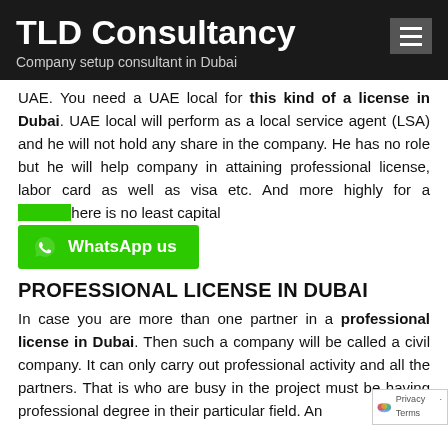TLD Consultancy
Company setup consultant in Dubai
UAE. You need a UAE local for this kind of a license in Dubai. UAE local will perform as a local service agent (LSA) and he will not hold any share in the company. He has no role but he will help company in attaining professional license, labor card as well as visa etc. And more highly for a p[rofessional license] there is no least capital [r]
[Figure (other): WhatsApp us button in green]
PROFESSIONAL LICENSE IN DUBAI
In case you are more than one partner in a professional license in Dubai. Then such a company will be called a civil company. It can only carry out professional activity and all the partners. That is who are busy in the project must be having professional degree in their particular field. An